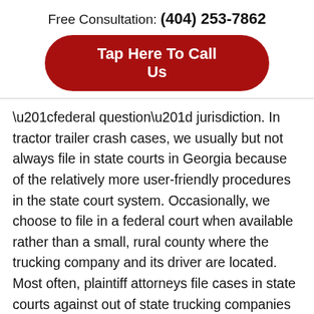Free Consultation: (404) 253-7862
[Figure (other): Red rounded button with white text: Tap Here To Call Us]
“federal question” jurisdiction. In tractor trailer crash cases, we usually but not always file in state courts in Georgia because of the relatively more user-friendly procedures in the state court system. Occasionally, we choose to file in a federal court when available rather than a small, rural county where the trucking company and its driver are located. Most often, plaintiff attorneys file cases in state courts against out of state trucking companies and drivers based on the Nonresident Motorist jurisdiction provisions which provide for venue where the crash happened or where the injured Georgia resident resides, Then the defense usually files a notice of removal to